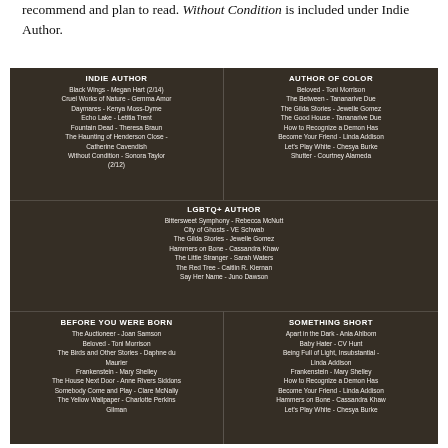recommend and plan to read. Without Condition is included under Indie Author.
[Figure (infographic): Bookshelf background image with overlaid reading challenge categories: Indie Author, Author of Color, LGBTQ+ Author, Before You Were Born, Something Short — each listing multiple book titles and authors.]